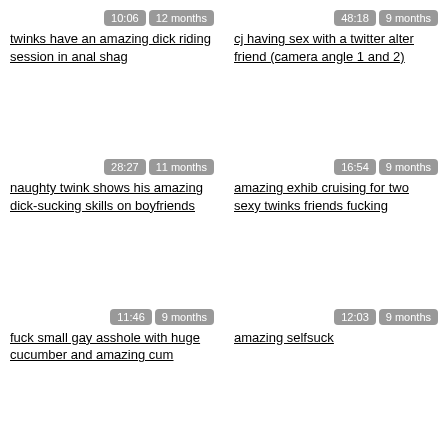10:06 | 12 months
twinks have an amazing dick riding session in anal shag
48:18 | 9 months
cj having sex with a twitter alter friend (camera angle 1 and 2)
28:27 | 11 months
naughty twink shows his amazing dick-sucking skills on boyfriends
16:54 | 9 months
amazing exhib cruising for two sexy twinks friends fucking
11:46 | 9 months
fuck small gay asshole with huge cucumber and amazing cum
12:03 | 9 months
amazing selfsuck